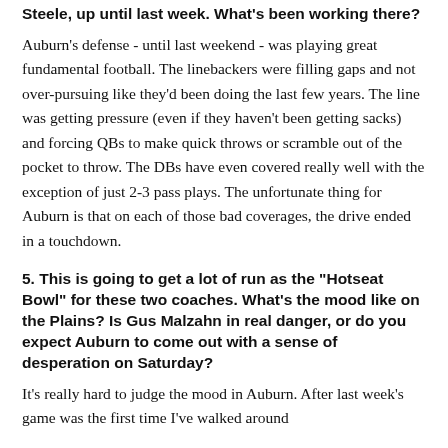Steele, up until last week. What's been working there?
Auburn's defense - until last weekend - was playing great fundamental football. The linebackers were filling gaps and not over-pursuing like they'd been doing the last few years. The line was getting pressure (even if they haven't been getting sacks) and forcing QBs to make quick throws or scramble out of the pocket to throw. The DBs have even covered really well with the exception of just 2-3 pass plays. The unfortunate thing for Auburn is that on each of those bad coverages, the drive ended in a touchdown.
5. This is going to get a lot of run as the "Hotseat Bowl" for these two coaches. What's the mood like on the Plains? Is Gus Malzahn in real danger, or do you expect Auburn to come out with a sense of desperation on Saturday?
It's really hard to judge the mood in Auburn. After last week's game was the first time I've walked around